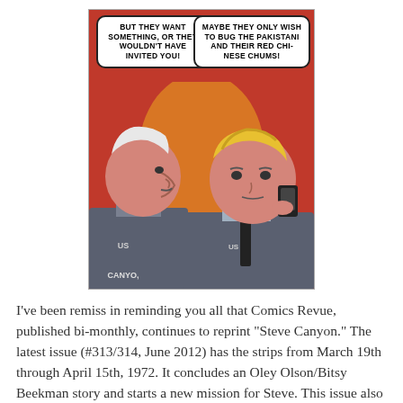[Figure (illustration): Comic strip panel showing two military men in uniform. The man on the left has white hair and is speaking. The man on the right is blond and holding a phone/device to his ear. Speech bubble on left reads: 'BUT THEY WANT SOMETHING, OR THEY WOULDN'T HAVE INVITED YOU!' Speech bubble on right reads: 'MAYBE THEY ONLY WISH TO BUG THE PAKISTANI AND THEIR RED CHINESE CHUMS!' The word 'CANYON' appears at the bottom. Red background with dramatic comic art style.]
I've been remiss in reminding you all that Comics Revue, published bi-monthly, continues to reprint "Steve Canyon." The latest issue (#313/314, June 2012) has the strips from March 19th through April 15th, 1972. It concludes an Oley Olson/Bitsy Beekman story and starts a new mission for Steve. This issue also reprints a bonus specialty drawing